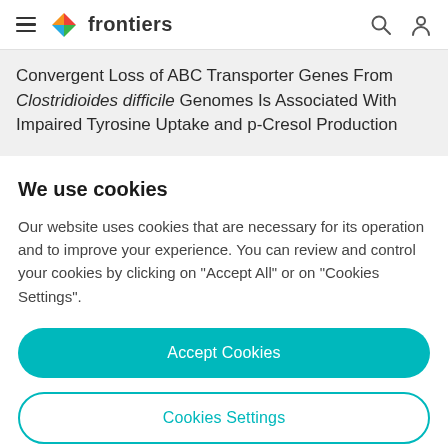frontiers
Convergent Loss of ABC Transporter Genes From Clostridioides difficile Genomes Is Associated With Impaired Tyrosine Uptake and p-Cresol Production
We use cookies
Our website uses cookies that are necessary for its operation and to improve your experience. You can review and control your cookies by clicking on "Accept All" or on "Cookies Settings".
Accept Cookies
Cookies Settings